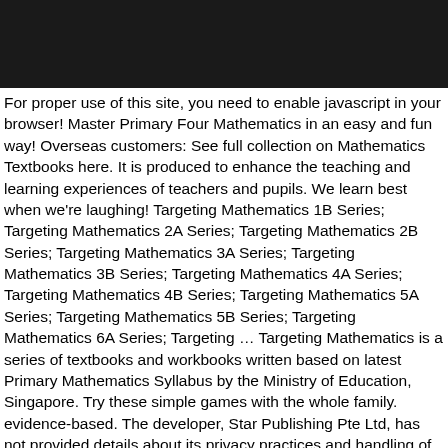[Figure (other): Black rectangular banner/header bar at the top of the page]
For proper use of this site, you need to enable javascript in your browser! Master Primary Four Mathematics in an easy and fun way! Overseas customers: See full collection on Mathematics Textbooks here. It is produced to enhance the teaching and learning experiences of teachers and pupils. We learn best when we're laughing! Targeting Mathematics 1B Series; Targeting Mathematics 2A Series; Targeting Mathematics 2B Series; Targeting Mathematics 3A Series; Targeting Mathematics 3B Series; Targeting Mathematics 4A Series; Targeting Mathematics 4B Series; Targeting Mathematics 5A Series; Targeting Mathematics 5B Series; Targeting Mathematics 6A Series; Targeting … Targeting Mathematics is a series of textbooks and workbooks written based on latest Primary Mathematics Syllabus by the Ministry of Education, Singapore. Try these simple games with the whole family. evidence-based. The developer, Star Publishing Pte Ltd, has not provided details about its privacy practices and handling of data to Apple. In addition, the user friendly interface and simple navigation makes it easy for even parents to coach your child at home. The Star Mathematics series adopts a spiralled and scaffolded approach to the learning of